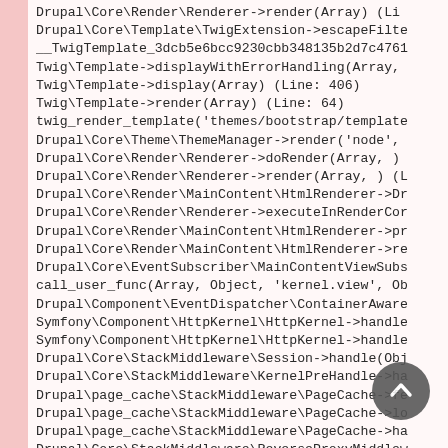Drupal\Core\Render\Renderer->render(Array) (Li
Drupal\Core\Template\TwigExtension->escapeFilte
__TwigTemplate_3dcb5e6bcc9230cbb348135b2d7c4761
Twig\Template->displayWithErrorHandling(Array,
Twig\Template->display(Array) (Line: 406)
Twig\Template->render(Array) (Line: 64)
twig_render_template('themes/bootstrap/template
Drupal\Core\Theme\ThemeManager->render('node',
Drupal\Core\Render\Renderer->doRender(Array, )
Drupal\Core\Render\Renderer->render(Array, ) (L
Drupal\Core\Render\MainContent\HtmlRenderer->Dr
Drupal\Core\Render\Renderer->executeInRenderCor
Drupal\Core\Render\MainContent\HtmlRenderer->pr
Drupal\Core\Render\MainContent\HtmlRenderer->re
Drupal\Core\EventSubscriber\MainContentViewSubs
call_user_func(Array, Object, 'kernel.view', Ob
Drupal\Component\EventDispatcher\ContainerAware
Symfony\Component\HttpKernel\HttpKernel->handle
Symfony\Component\HttpKernel\HttpKernel->handle
Drupal\Core\StackMiddleware\Session->handle(Obj
Drupal\Core\StackMiddleware\KernelPreHandle->ha
Drupal\page_cache\StackMiddleware\PageCache->fe
Drupal\page_cache\StackMiddleware\PageCache->lo
Drupal\page_cache\StackMiddleware\PageCache->ha
Drupal\Core\StackMiddleware\ReverseProxyMiddlew